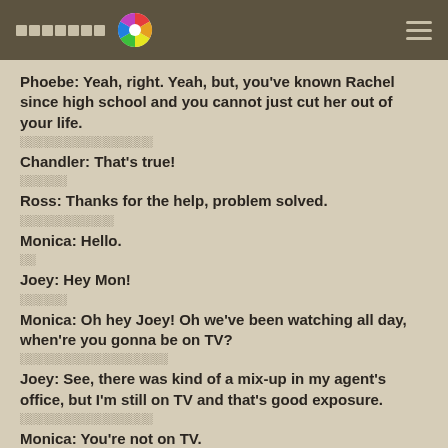░░░░░░░ [color wheel icon] ≡
Phoebe: Yeah, right. Yeah, but, you've known Rachel since high school and you cannot just cut her out of your life.
░░░░░░░░░░░░░░░░░░
Chandler: That's true!
░░░░░░░
Ross: Thanks for the help, problem solved.
░░░░░░░░░░░░
Monica: Hello.
░░
Joey: Hey Mon!
░░░░░░
Monica: Oh hey Joey! Oh we've been watching all day, when're you gonna be on TV?
░░░░░░░░░░░░░░░░░░░
Joey: See, there was kind of a mix-up in my agent's office, but I'm still on TV and that's good exposure.
░░░░░░░░░░░░░░░░░
Monica: You're not on TV.
░░░░░░░░
Joey: Oh, uh, ok, how, how about now?